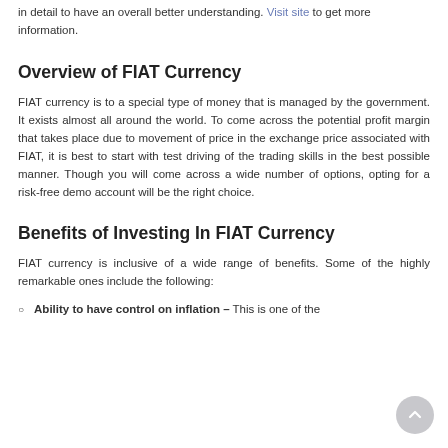in detail to have an overall better understanding. Visit site to get more information.
Overview of FIAT Currency
FIAT currency is to a special type of money that is managed by the government. It exists almost all around the world. To come across the potential profit margin that takes place due to movement of price in the exchange price associated with FIAT, it is best to start with test driving of the trading skills in the best possible manner. Though you will come across a wide number of options, opting for a risk-free demo account will be the right choice.
Benefits of Investing In FIAT Currency
FIAT currency is inclusive of a wide range of benefits. Some of the highly remarkable ones include the following:
Ability to have control on inflation – This is one of the